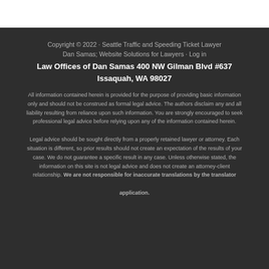Copyright © 2022 · Seattle Traffic and Speeding Ticket Lawyer Dan Samas; Website Solutions for Lawyers · Log in
Law Offices of Dan Samas 400 NW Gilman Blvd #637 Issaquah, WA 98027
All information contained herein is provided for the purpose of providing basic information only and should not be construed as formal legal advice. The authors disclaim any and all liability resulting from reliance upon such information. You are strongly encouraged to seek professional legal advice before relying upon any of the information contained herein. Legal advice should be sought directly from a properly retained lawyer or attorney. Each situation is different, so prior results should not create an expectation of the results of your case. We do not guarantee a specific result in any case. Unless otherwise stated, the information on this site is not legal advice and does not create an attorney-client relationship. We are not responsible for inaccurate translations by the translator application.